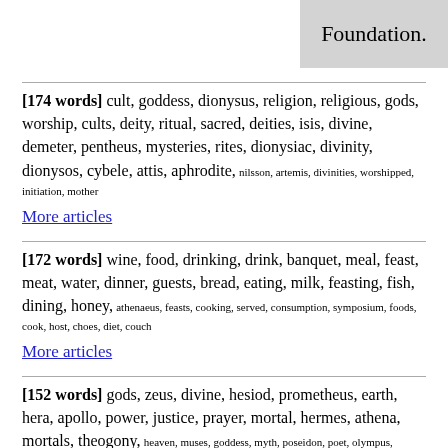Foundation.
[174 words] cult, goddess, dionysus, religion, religious, gods, worship, cults, deity, ritual, sacred, deities, isis, divine, demeter, pentheus, mysteries, rites, dionysiac, divinity, dionysos, cybele, attis, aphrodite, nilsson, artemis, divinities, worshipped, initiation, mother
More articles
[172 words] wine, food, drinking, drink, banquet, meal, feast, meat, water, dinner, guests, bread, eating, milk, feasting, fish, dining, honey, athenaeus, feasts, cooking, served, consumption, symposium, foods, cook, host, choes, diet, couch
More articles
[152 words] gods, zeus, divine, hesiod, prometheus, earth, hera, apollo, power, justice, prayer, mortal, hermes, athena, mortals, theogony, heaven, muses, goddess, myth, poseidon, poet, olympus, aphrodite, homer, fate, birth, divinity, dike, passage